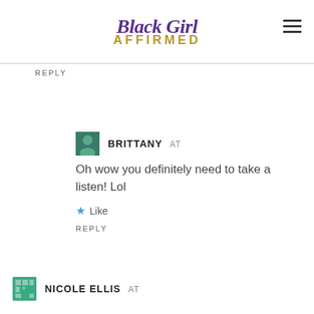[Figure (logo): Black Girl Affirmed logo with cursive purple 'Black Girl' and gold bold 'AFFIRMED' text]
REPLY
BRITTANY AT
Oh wow you definitely need to take a listen! Lol
Like
REPLY
NICOLE ELLIS AT